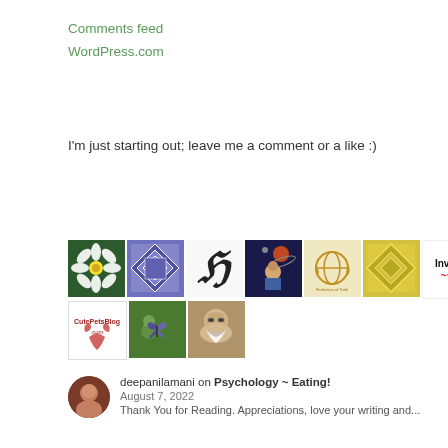Comments feed
WordPress.com
I'm just starting out; leave me a comment or a like :)
[Figure (illustration): A row of blogger/user avatar icons: a daisy flower, blue geometric pattern, stylized H logo, illustrated person with planets, globe with laurel wreath (Perfection of Truth), yellow geometric pattern, Invisibly Me logo; second row: CutePetsBlog.com logo, butterfly on leaves, bearded man portrait]
deepanilamani on Psychology ~ Eating!
August 7, 2022
Thank You for Reading. Appreciations, love your writing and...